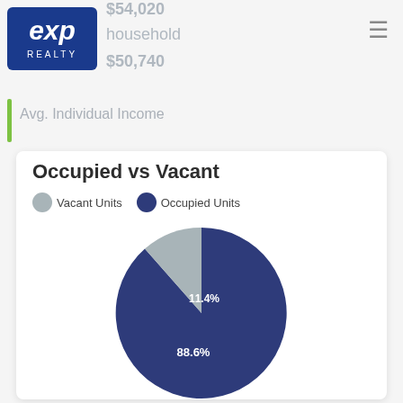[Figure (logo): eXp Realty logo — blue square background with white 'exp' text and 'REALTY' below]
$54,020
household
$50,740
Avg. Individual Income
Occupied vs Vacant
Vacant Units   Occupied Units
[Figure (pie-chart): Occupied vs Vacant]